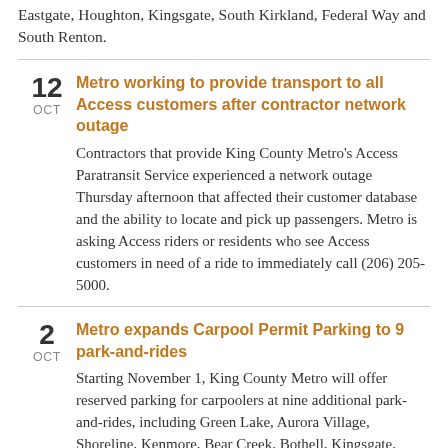Eastgate, Houghton, Kingsgate, South Kirkland, Federal Way and South Renton.
12 OCT — Metro working to provide transport to all Access customers after contractor network outage. Contractors that provide King County Metro's Access Paratransit Service experienced a network outage Thursday afternoon that affected their customer database and the ability to locate and pick up passengers. Metro is asking Access riders or residents who see Access customers in need of a ride to immediately call (206) 205-5000.
2 OCT — Metro expands Carpool Permit Parking to 9 park-and-rides. Starting November 1, King County Metro will offer reserved parking for carpoolers at nine additional park-and-rides, including Green Lake, Aurora Village, Shoreline, Kenmore, Bear Creek, Bothell, Kingsgate, Wilburton, Renton Metropolitan Place, and Tukwila. To access reserved parking, customers must first obtain a free Carpool Parking Permit.